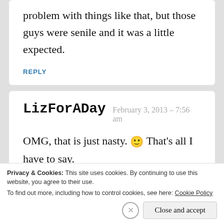problem with things like that, but those guys were senile and it was a little expected.
REPLY
LizForADay  February 3, 2013 – 7:56 am
OMG, that is just nasty. 🙂 That's all I have to say.
Privacy & Cookies: This site uses cookies. By continuing to use this website, you agree to their use. To find out more, including how to control cookies, see here: Cookie Policy
Close and accept